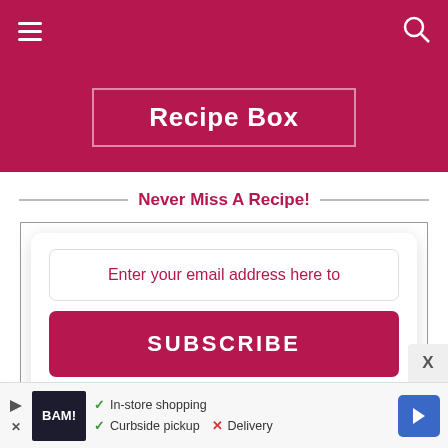Recipe Box
Never Miss A Recipe!
Enter your email address here to
SUBSCRIBE
via email or RSS
<< More Info Here >>.
[Figure (screenshot): Advertisement banner with BAM! logo, checkmarks for In-store shopping and Curbside pickup, X for Delivery, and navigation arrow icon]